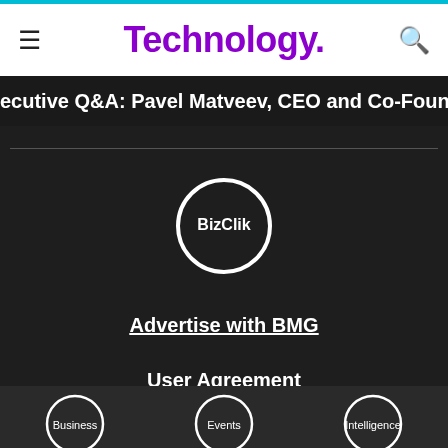Technology.
ecutive Q&A: Pavel Matveev, CEO and Co-Founder of Wirex
[Figure (logo): BizClik circular logo with white ring on dark background]
Advertise with BMG
User Agreement
Privacy Policy
[Figure (logo): Bottom navigation icons: Business, Events, Intelligence circular logos]